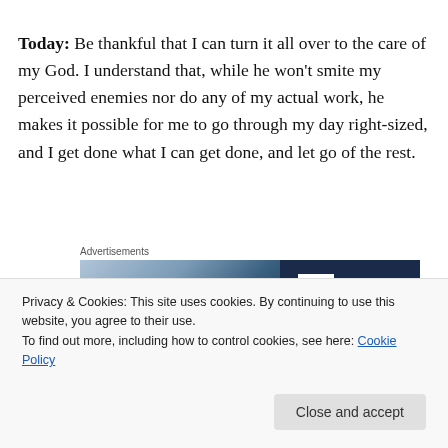Today: Be thankful that I can turn it all over to the care of my God. I understand that, while he won't smite my perceived enemies nor do any of my actual work, he makes it possible for me to go through my day right-sized, and I get done what I can get done, and let go of the rest.
Advertisements
[Figure (photo): Advertisement banner image with blue gradient on left and dark navy background with white letter D icon on right]
Privacy & Cookies: This site uses cookies. By continuing to use this website, you agree to their use.
To find out more, including how to control cookies, see here: Cookie Policy
Close and accept